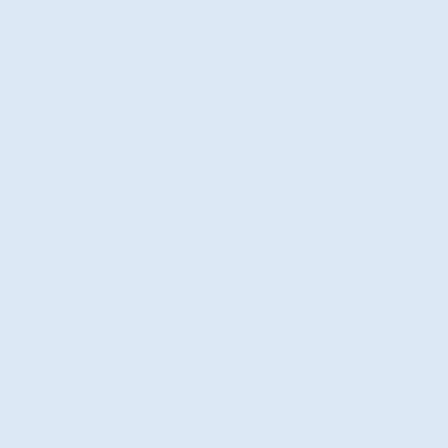the answers, the assista Rivers?" In response, Ri dramatically, 'Because D
Long on anecdote, shor Rivers's friends and ass experimentalists of all s ("violent pacifists," Rive Spike Jones"), Jasper Jo New York School, with v John Ashbery, James Sc were intermittently love hilarious send-up of an the elephants and the h end of the large empty
Rivers is a world-class t manic monologue. It is flashbacks and flash-for